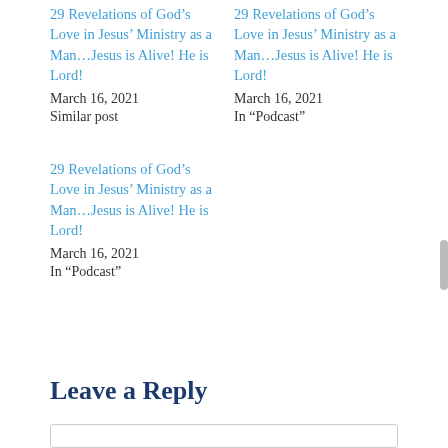29 Revelations of God’s Love in Jesus’ Ministry as a Man…Jesus is Alive! He is Lord!
March 16, 2021
Similar post
29 Revelations of God’s Love in Jesus’ Ministry as a Man…Jesus is Alive! He is Lord!
March 16, 2021
In “Podcast”
29 Revelations of God’s Love in Jesus’ Ministry as a Man…Jesus is Alive! He is Lord!
March 16, 2021
In “Podcast”
Leave a Reply